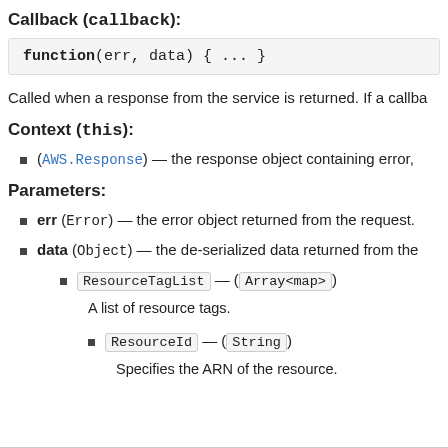Callback (callback):
Called when a response from the service is returned. If a callba
Context (this):
(AWS.Response) — the response object containing error,
Parameters:
err (Error) — the error object returned from the request.
data (Object) — the de-serialized data returned from the
ResourceTagList — (Array<map>)
A list of resource tags.
ResourceId — (String)
Specifies the ARN of the resource.